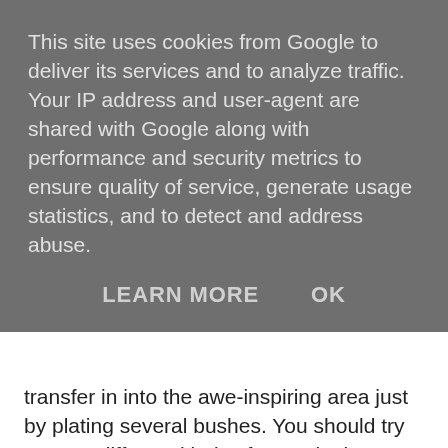This site uses cookies from Google to deliver its services and to analyze traffic. Your IP address and user-agent are shared with Google along with performance and security metrics to ensure quality of service, generate usage statistics, and to detect and address abuse.
LEARN MORE   OK
transfer in into the awe-inspiring area just by plating several bushes. You should try to grow different kinds of roses in the garden. When these roses bloom, they also work as an air freshener in your garden. When roses bloom in your garden, they will attract beneficial predator insects. These beneficial predator insects can become the cause of pollination. There are also some health benefits of these rose plants in your garden. You can also use these roses in your house as decorated pieces.
Herb:
It is very easy to grow herbs in the garden. The main advantage of growing herbs in your garden is that their flowers attract lots of pollinators. These pollinators become a